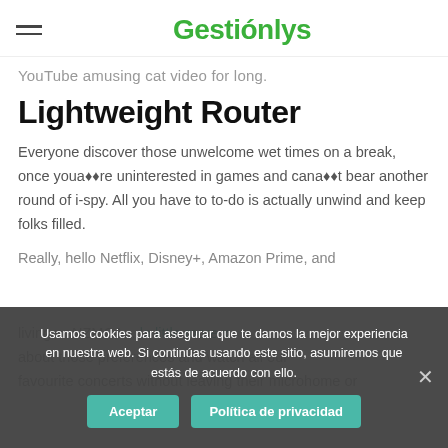Gestiónlys
YouTube amusing cat video for long.
Lightweight Router
Everyone discover those unwelcome wet times on a break, once youaï¿½re uninterested in games and canaï¿½t bear another round of i-spy. All you have to to-do is actually unwind and keep folks filled.
Really, hello Netflix, Disney+, Amazon Prime, and living or NZMCA... la little more x about those preferences and watch all your favourite concerts without leaving their microhome or
Usamos cookies para asegurar que te damos la mejor experiencia en nuestra web. Si continúas usando este sitio, asumiremos que estás de acuerdo con ello.
Aceptar
Política de privacidad